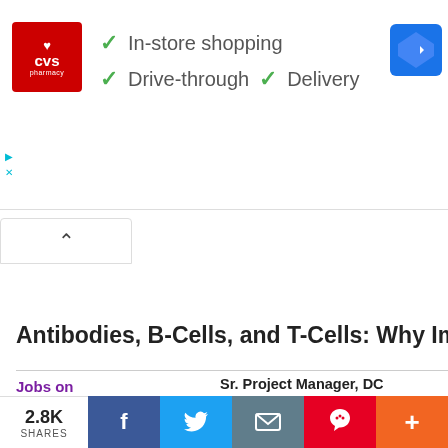[Figure (screenshot): CVS Pharmacy advertisement banner showing logo with checkmarks for In-store shopping, Drive-through, and Delivery, with Google Maps icon]
▷
✕
[Figure (screenshot): Collapse/expand chevron button bar]
Antibodies, B-Cells, and T-Cells: Why Immu
Jobs on
MONSTER
Sr. Project Manager, DC
Infineon Technologies Ame
2.8K SHARES
[Figure (screenshot): Social share bar with Facebook, Twitter, email, Pinterest, and plus buttons]